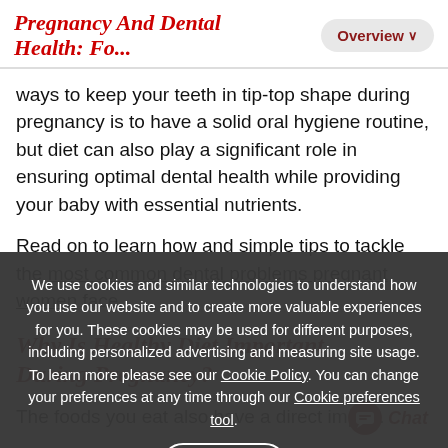Pregnancy And Dental Health: Fo...
ways to keep your teeth in tip-top shape during pregnancy is to have a solid oral hygiene routine, but diet can also play a significant role in ensuring optimal dental health while providing your baby with essential nutrients.
Read on to learn how and simple tips to tackle the most common dental problems pregnant women face.
Why Is Healthy Diet Important During Pregnancy?
We use cookies and similar technologies to understand how you use our website and to create more valuable experiences for you. These cookies may be used for different purposes, including personalized advertising and measuring site usage. To learn more please see our Cookie Policy. You can change your preferences at any time through our Cookie preferences tool.
The foods you eat also have a direct impa...